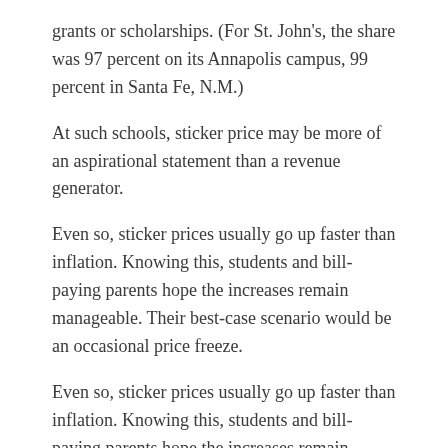grants or scholarships. (For St. John's, the share was 97 percent on its Annapolis campus, 99 percent in Santa Fe, N.M.)
At such schools, sticker price may be more of an aspirational statement than a revenue generator.
Even so, sticker prices usually go up faster than inflation. Knowing this, students and bill-paying parents hope the increases remain manageable. Their best-case scenario would be an occasional price freeze.
Even so, sticker prices usually go up faster than inflation. Knowing this, students and bill-paying parents hope the increases remain manageable. Their best-case scenario would be an occasional price freeze.
Now, price cuts among private colleges could be signaling a pivot point in that sector.
Sweet Briar College in Virginia, which nearly closed in 2015